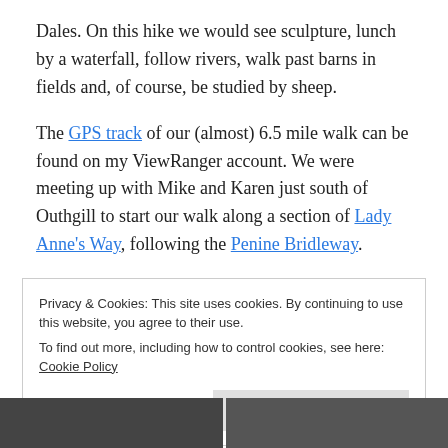Dales. On this hike we would see sculpture, lunch by a waterfall, follow rivers, walk past barns in fields and, of course, be studied by sheep.
The GPS track of our (almost) 6.5 mile walk can be found on my ViewRanger account. We were meeting up with Mike and Karen just south of Outhgill to start our walk along a section of Lady Anne's Way, following the Penine Bridleway.
Privacy & Cookies: This site uses cookies. By continuing to use this website, you agree to their use.
To find out more, including how to control cookies, see here: Cookie Policy
[Figure (photo): Two partial photos visible at the bottom of the page, both in dark tones (appear to be landscape or nature photos).]